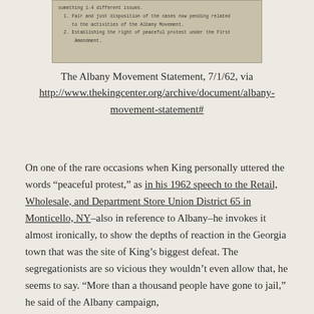[Figure (photo): Scanned document image showing typewritten text listing Albany Movement demands including fair disposition of cases and right to peaceful protest under the First Amendment.]
The Albany Movement Statement, 7/1/62, via http://www.thekingcenter.org/archive/document/albany-movement-statement#
On one of the rare occasions when King personally uttered the words “peaceful protest,” as in his 1962 speech to the Retail, Wholesale, and Department Store Union District 65 in Monticello, NY–also in reference to Albany–he invokes it almost ironically, to show the depths of reaction in the Georgia town that was the site of King’s biggest defeat. The segregationists are so vicious they wouldn’t even allow that, he seems to say. “More than a thousand people have gone to jail,” he said of the Albany campaign,